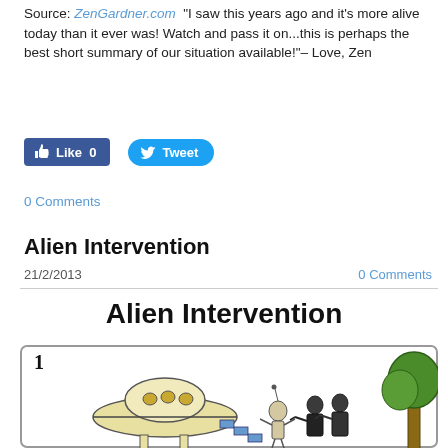Source: ZenGardner.com  "I saw this years ago and it's more alive today than it ever was! Watch and pass it on...this is perhaps the best short summary of our situation available!"– Love, Zen
[Figure (screenshot): Social media share buttons: Facebook Like (0) and Twitter Tweet buttons]
0 Comments
Alien Intervention
21/2/2013    0 Comments
Alien Intervention
[Figure (illustration): A cartoon illustration card numbered '1' showing a UFO/flying saucer with portholes hovering above legs/stilts, an alien figure, human figures in dark robes gesturing, and a tree on the right side. Drawn in a comic/satirical style with colored pencil or watercolor look.]